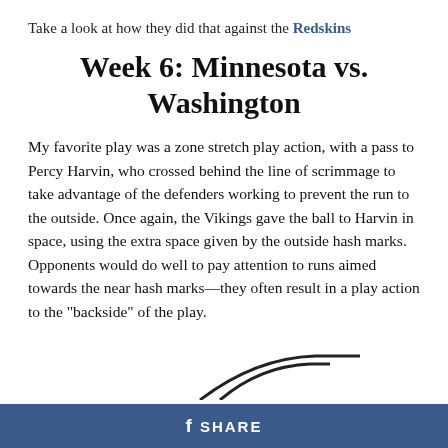Take a look at how they did that against the Redskins
Week 6: Minnesota vs. Washington
My favorite play was a zone stretch play action, with a pass to Percy Harvin, who crossed behind the line of scrimmage to take advantage of the defenders working to prevent the run to the outside. Once again, the Vikings gave the ball to Harvin in space, using the extra space given by the outside hash marks. Opponents would do well to pay attention to runs aimed towards the near hash marks—they often result in a play action to the "backside" of the play.
[Figure (illustration): Partial view of football play diagrams at the bottom of the page, showing curved and straight route lines.]
f SHARE